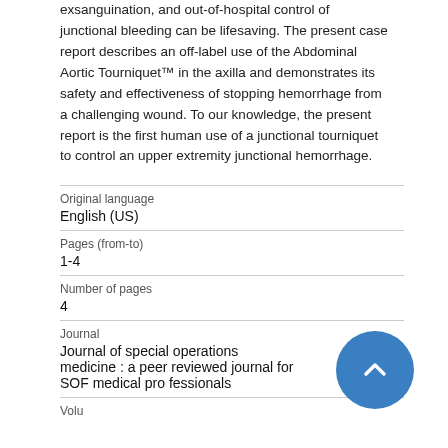exsanguination, and out-of-hospital control of junctional bleeding can be lifesaving. The present case report describes an off-label use of the Abdominal Aortic Tourniquet™ in the axilla and demonstrates its safety and effectiveness of stopping hemorrhage from a challenging wound. To our knowledge, the present report is the first human use of a junctional tourniquet to control an upper extremity junctional hemorrhage.
| Original language | English (US) |
| Pages (from-to) | 1-4 |
| Number of pages | 4 |
| Journal | Journal of special operations medicine : a peer reviewed journal for SOF medical professionals |
| Volume |  |